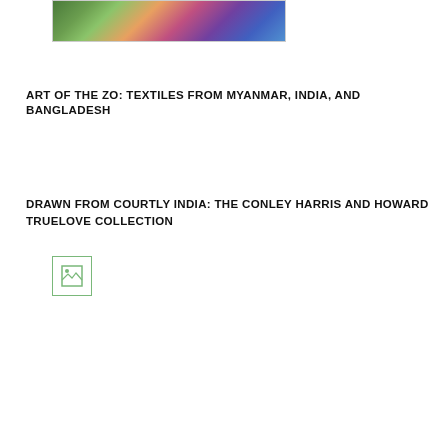[Figure (photo): Colorful artwork image at top, showing vivid green, orange, purple and blue tones, likely a textile or painting detail]
ART OF THE ZO: TEXTILES FROM MYANMAR, INDIA, AND BANGLADESH
[Figure (photo): Broken/missing image placeholder icon with green border]
DRAWN FROM COURTLY INDIA: THE CONLEY HARRIS AND HOWARD TRUELOVE COLLECTION
[Figure (photo): Book cover for 'Drawn from Courtly India: The Conley Harris and Howard Truelove Collection', showing tan/beige line drawing of Indian courtly figures with the title in dark blue and subtitle in orange-red]